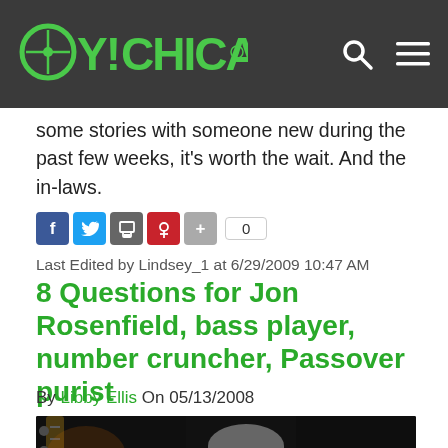OY!CHICAGO
some stories with someone new during the past few weeks, it's worth the wait. And the in-laws.
Last Edited by Lindsey_1 at 6/29/2009 10:47 AM
8 Questions for Jon Rosenfield, bass player, number cruncher, Passover purist
By Libby Ellis On 05/13/2008
[Figure (photo): Photo of Jon Rosenfield, a man with short gray hair and black rectangular glasses, looking downward, with a bass guitar visible in the foreground]